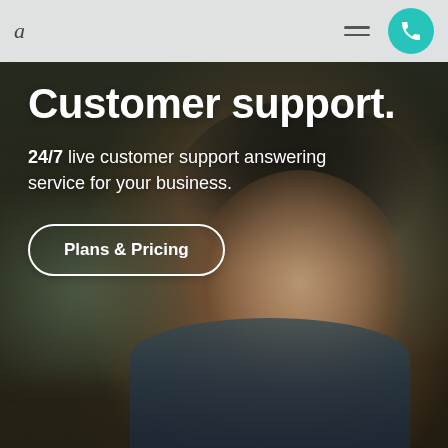a
[Figure (photo): Smiling young woman with glasses wearing a headset/microphone, serving as a customer support agent. Background is blurred green/office tones.]
Customer support
24/7 live customer support answering service for your business.
Plans & Pricing